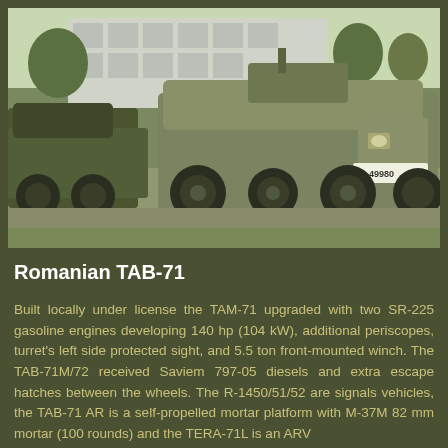[Figure (photo): Photograph of Romanian TAB-71 armored personnel carriers parked outdoors near a building. The vehicle in the foreground shows license plate A: 49980. Multiple 8-wheeled armored vehicles visible in an outdoor storage or museum setting.]
Romanian TAB-71
Built locally under license the TAM-71 upgraded with two SR-225 gasoline engines developing 140 hp (104 kW), additional periscopes, turret's left side protected sight, and 5.5 ton front-mounted winch. The TAB-71M/72 received Saviem 797-05 diesels and extra escape hatches between the wheels. The R-1450/51/52 are signals vehicles, the TAB-71 AR is a self-propelled mortar platform with M-37M 82 mm mortar (100 rounds) and the TERA-71L is an ARV